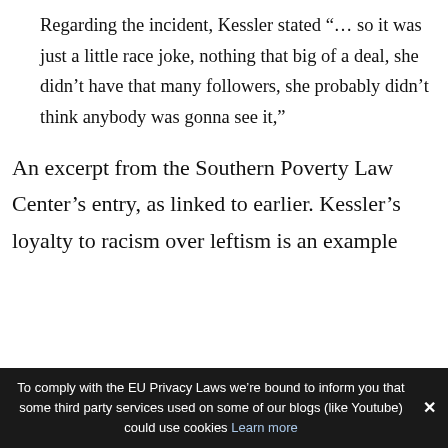Regarding the incident, Kessler stated “… so it was just a little race joke, nothing that big of a deal, she didn’t have that many followers, she probably didn’t think anybody was gonna see it,”
An excerpt from the Southern Poverty Law Center’s entry, as linked to earlier. Kessler’s loyalty to racism over leftism is an example
To comply with the EU Privacy Laws we’re bound to inform you that some third party services used on some of our blogs (like Youtube) could use cookies Learn more